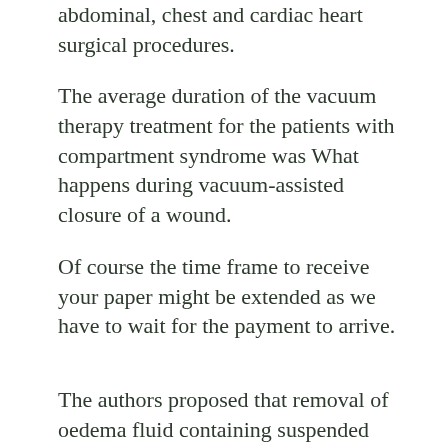abdominal, chest and cardiac heart surgical procedures.
The average duration of the vacuum therapy treatment for the patients with compartment syndrome was What happens during vacuum-assisted closure of a wound.
Of course the time frame to receive your paper might be extended as we have to wait for the payment to arrive.
The authors proposed that removal of oedema fluid containing suspended cellular debris, osmotically active molecules and biochemical mediators, released following the initial injury, may prevent cessation of blood flow.
They reported that the treatment resulted in "efficient cleaning and conditioning of the wound, with marked proliferation of granulation tissue".
Lower extremity foot ulcers and amputations in diabetes.